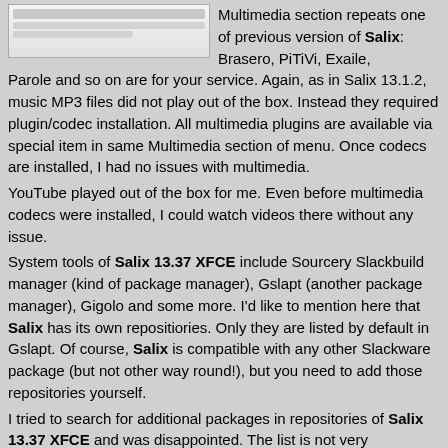[Figure (screenshot): Small screenshot thumbnail of a software interface]
Multimedia section repeats one of previous version of Salix: Brasero, PiTiVi, Exaile, Parole and so on are for your service. Again, as in Salix 13.1.2, music MP3 files did not play out of the box. Instead they required plugin/codec installation. All multimedia plugins are available via special item in same Multimedia section of menu. Once codecs are installed, I had no issues with multimedia.
YouTube played out of the box for me. Even before multimedia codecs were installed, I could watch videos there without any issue.
System tools of Salix 13.37 XFCE include Sourcery Slackbuild manager (kind of package manager), Gslapt (another package manager), Gigolo and some more. I'd like to mention here that Salix has its own repositiories. Only they are listed by default in Gslapt. Of course, Salix is compatible with any other Slackware package (but not other way round!), but you need to add those repositories yourself.
I tried to search for additional packages in repositories of Salix 13.37 XFCE and was disappointed. The list is not very impressive. For example, my favourite VLC player is